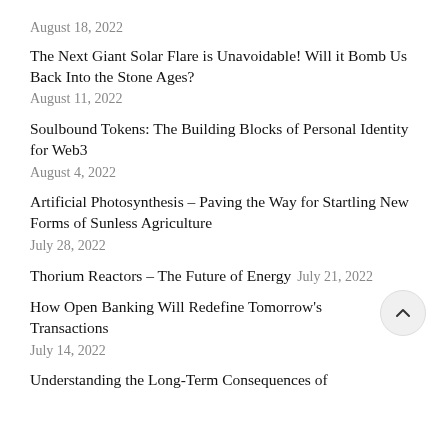August 18, 2022
The Next Giant Solar Flare is Unavoidable! Will it Bomb Us Back Into the Stone Ages?
August 11, 2022
Soulbound Tokens: The Building Blocks of Personal Identity for Web3
August 4, 2022
Artificial Photosynthesis – Paving the Way for Startling New Forms of Sunless Agriculture
July 28, 2022
Thorium Reactors – The Future of Energy
July 21, 2022
How Open Banking Will Redefine Tomorrow's Transactions
July 14, 2022
Understanding the Long-Term Consequences of